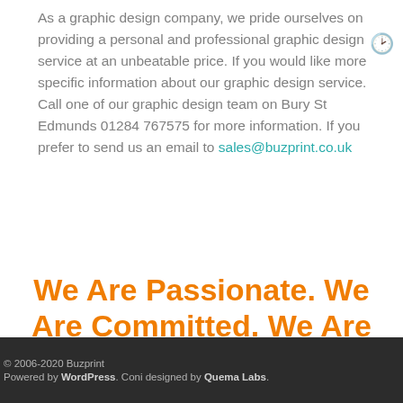As a graphic design company, we pride ourselves on providing a personal and professional graphic design service at an unbeatable price. If you would like more specific information about our graphic design service. Call one of our graphic design team on Bury St Edmunds 01284 767575 for more information. If you prefer to send us an email to sales@buzprint.co.uk
We Are Passionate. We Are Committed. We Are Creative.
Good Graphic Design That Doesn’t Cost the Earth
© 2006-2020 Buzprint Powered by WordPress. Coni designed by Quema Labs.